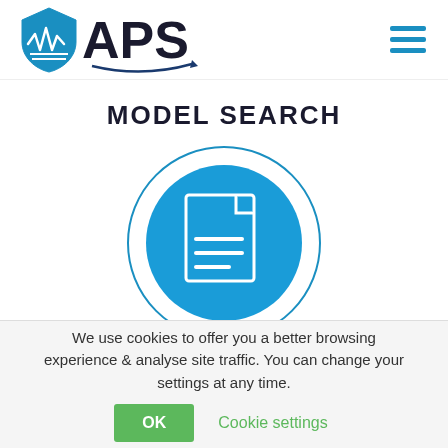[Figure (logo): APS logo with shield icon containing a waveform graphic and the text APS with a swoosh arrow, plus a hamburger menu icon on the right]
MODEL SEARCH
[Figure (illustration): A circular illustration with a thin outer ring and a solid blue filled inner circle containing a white document/file icon with lines representing text]
We use cookies to offer you a better browsing experience & analyse site traffic. You can change your settings at any time.
OK
Cookie settings